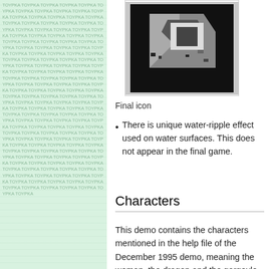[Figure (screenshot): Final icon image showing a pixelated graphic with grey and black tones on a black background, displayed within a grey border frame.]
Final icon
There is unique water-ripple effect used on water surfaces. This does not appear in the final game.
Characters
This demo contains the characters mentioned in the help file of the December 1995 demo, meaning the woman, the dragon and the gargoyle on the map. It also contains the wizard but its animations are broken and all you can see is a glimpse of him. However this requires a trick: approach the wizard, then switch to UnrealServer window and